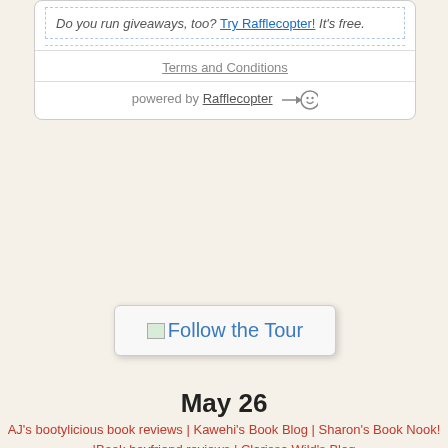Do you run giveaways, too? Try Rafflecopter! It's free.
Terms and Conditions
powered by Rafflecopter
[Figure (other): Follow the Tour button with small image icon]
May 26
AJ's bootylicious book reviews | Kawehi's Book Blog | Sharon's Book Nook! |Book boyfriend reviews | Clarissa Wild's Blog
May 27
Sassy Sext Addiction Book Lovers | Promiscuous Book Blog | Reading Is My Superpower